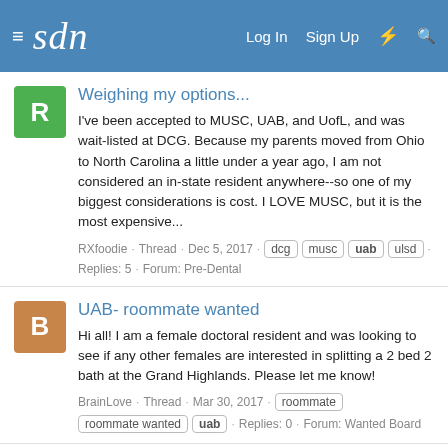sdn | Log In  Sign Up
Weighing my options...
I've been accepted to MUSC, UAB, and UofL, and was wait-listed at DCG. Because my parents moved from Ohio to North Carolina a little under a year ago, I am not considered an in-state resident anywhere--so one of my biggest considerations is cost. I LOVE MUSC, but it is the most expensive...
RXfoodie · Thread · Dec 5, 2017 · dcg musc uab ulsd · Replies: 5 · Forum: Pre-Dental
UAB- roommate wanted
Hi all! I am a female doctoral resident and was looking to see if any other females are interested in splitting a 2 bed 2 bath at the Grand Highlands. Please let me know!
BrainLove · Thread · Mar 30, 2017 · roommate roommate wanted uab · Replies: 0 · Forum: Wanted Board
UAB Wait list
Hey y'all I was wondering if anyone knows the average number that UAB accepts from the wait list? I'm # 10 and was curious if